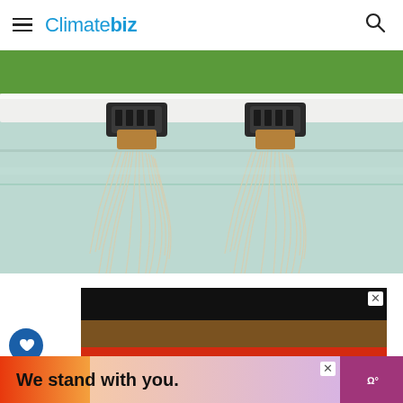Climatebiz
[Figure (photo): Close-up photograph of hydroponic plant roots hanging down through small dark plastic net cups attached to a white panel. The long white fibrous roots dangle into a water reservoir. Green leafy plants are visible at the top. The background shows a greenhouse interior.]
[Figure (infographic): Advertisement banner with horizontal color stripes: black at top, brown, red, and orange below. Large bold black text reads 'We stand' on the orange/red section.]
[Figure (infographic): Bottom banner advertisement with gradient colors from orange-red on the left through peach/pink to purple on the right. Bold black text reads 'We stand with you.' A WeatherBug logo appears on the right side.]